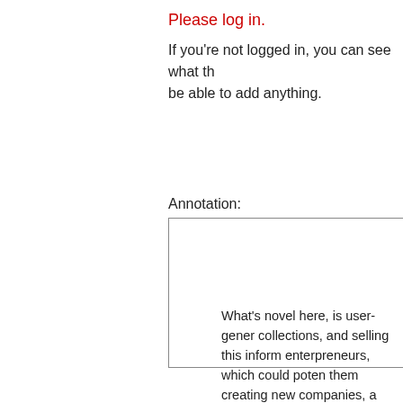Please log in.
If you're not logged in, you can see what th be able to add anything.
Annotation:
[Figure (other): Empty annotation text input box]
What's novel here, is user-gener collections, and selling this inform enterpreneurs, which could poten them creating new companies, a innovation-driven economies. It n where this could first be realized, the headline, because this wouldn